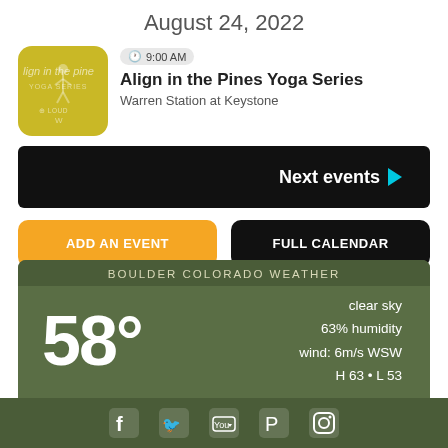August 24, 2022
[Figure (logo): Align in the Pines Yoga Series logo - golden/olive colored square with rounded corners, text 'lign in the pine' and yoga figure silhouette]
9:00 AM
Align in the Pines Yoga Series
Warren Station at Keystone
Next events ▶
ADD AN EVENT
FULL CALENDAR
BOULDER COLORADO WEATHER
58°
clear sky
63% humidity
wind: 6m/s WSW
H 63 • L 53
[Figure (infographic): Social media icons row: Facebook, Twitter, YouTube, Pinterest, Instagram - white icons on dark green background]